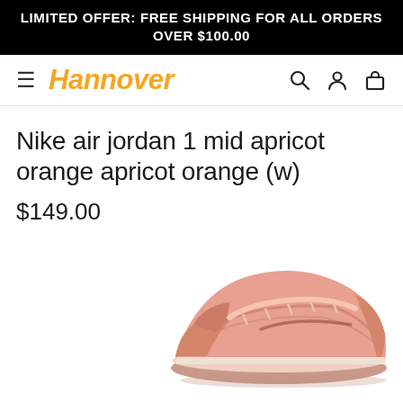LIMITED OFFER: FREE SHIPPING FOR ALL ORDERS OVER $100.00
[Figure (logo): Hannover store logo with hamburger menu, search, user, and bag icons in navigation bar]
Nike air jordan 1 mid apricot orange apricot orange (w)
$149.00
[Figure (photo): Nike Air Jordan 1 Mid sneaker in apricot orange colorway, shown from side angle, partially visible at bottom of page]